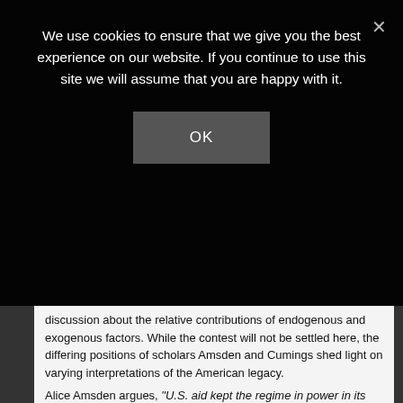We use cookies to ensure that we give you the best experience on our website. If you continue to use this site we will assume that you are happy with it.
OK
discussion about the relative contributions of endogenous and exogenous factors. While the contest will not be settled here, the differing positions of scholars Amsden and Cumings shed light on varying interpretations of the American legacy.
Alice Amsden argues, “U.S. aid kept the regime in power in its earliest years.” She goes on to say:
“ A champion of American policy reminds us: ‘U.S. economic assistance helped to preserve the cohesion of the Mainlander minority and to